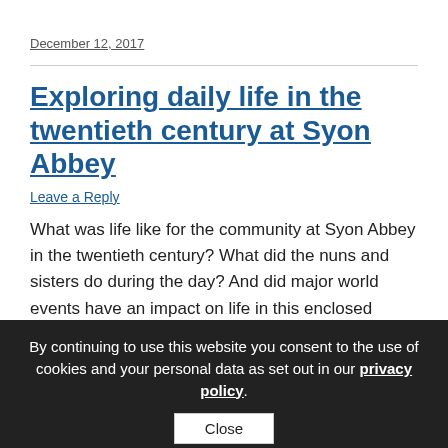December 12, 2017
Exploring daily life in the twentieth century at Syon Abbey
Leave a Reply
What was life like for the community at Syon Abbey in the twentieth century? What did the nuns and sisters do during the day? And did major world events have an impact on life in this enclosed community? These questions and more can now be explored through recently-catalogued material in the Syon Abbey archive.
By continuing to use this website you consent to the use of cookies and your personal data as set out in our privacy policy.
Close